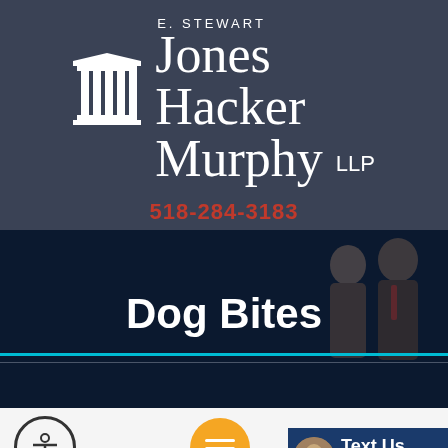[Figure (logo): E. Stewart Jones Hacker Murphy LLP law firm logo with white pillar/column icon and firm name in white serif text on dark slate background]
518-284-3183
Dog Bites
[Figure (photo): Dark background photo showing silhouettes of suited figures, used as hero banner behind Dog Bites heading]
New York D... ite